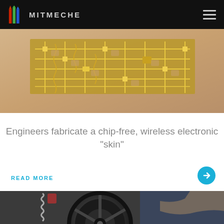MITMECHE
[Figure (photo): Close-up photo of a flexible electronic circuit mesh placed on human skin, showing golden circuit traces in a lattice pattern]
Engineers fabricate a chip-free, wireless electronic "skin"
READ MORE
[Figure (photo): Close-up photo of a mechanical wheel or motor component, dark metallic parts with a spring visible, person wearing jeans in background]